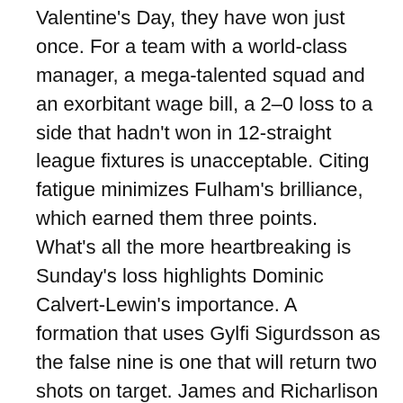Valentine's Day, they have won just once. For a team with a world-class manager, a mega-talented squad and an exorbitant wage bill, a 2–0 loss to a side that hadn't won in 12-straight league fixtures is unacceptable. Citing fatigue minimizes Fulham's brilliance, which earned them three points. What's all the more heartbreaking is Sunday's loss highlights Dominic Calvert-Lewin's importance. A formation that uses Gylfi Sigurdsson as the false nine is one that will return two shots on target. James and Richarlison were useless on the wings, and the home side never really threatened Alphonse Areola in net. To top off the heartache of Sunday's pitiful outing, the Toffees spent a majority of the game without possession and, when they did have the ball, lacked any semblance of conviction or invention.